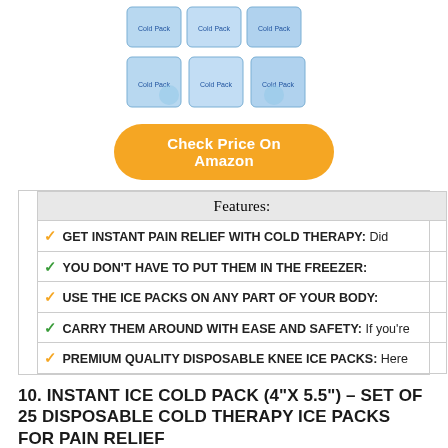[Figure (photo): Product photo showing multiple blue cold packs arranged in two rows]
Check Price On Amazon
| Features: |
| --- |
| GET INSTANT PAIN RELIEF WITH COLD THERAPY: Did |
| YOU DON'T HAVE TO PUT THEM IN THE FREEZER: |
| USE THE ICE PACKS ON ANY PART OF YOUR BODY: |
| CARRY THEM AROUND WITH EASE AND SAFETY: If you're |
| PREMIUM QUALITY DISPOSABLE KNEE ICE PACKS: Here |
10. INSTANT ICE COLD PACK (4"X 5.5") – SET OF 25 DISPOSABLE COLD THERAPY ICE PACKS FOR PAIN RELIEF